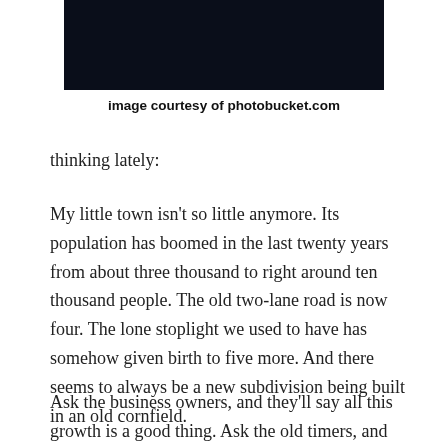[Figure (photo): Dark/night sky photograph, partially visible at top of page]
image courtesy of photobucket.com
thinking lately:
My little town isn't so little anymore. Its population has boomed in the last twenty years from about three thousand to right around ten thousand people. The old two-lane road is now four. The lone stoplight we used to have has somehow given birth to five more. And there seems to always be a new subdivision being built in an old cornfield.
Ask the business owners, and they'll say all this growth is a good thing. Ask the old timers, and they'll